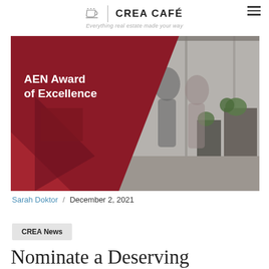CREA CAFÉ — Everything real estate made your way
[Figure (photo): Hero image for AEN Award of Excellence article. Left side has a dark red diagonal background with bold white text reading 'AEN Award of Excellence'. Right side shows a blurred office/hallway scene with people walking past green plants in modern industrial space.]
Sarah Doktor / December 2, 2021
CREA News
Nominate a Deserving